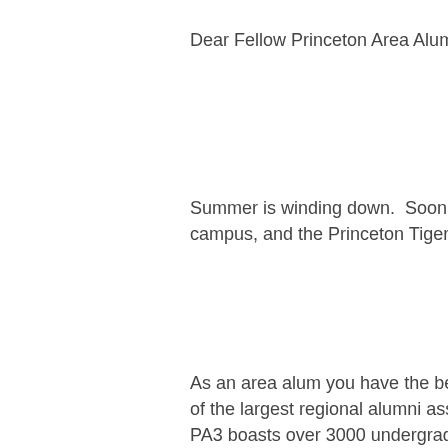Dear Fellow Princeton Area Alumni:
Summer is winding down.  Soon the leaves will be changing on campus, and the Princeton Tigers Football
As an area alum you have the benefit of st of the largest regional alumni associations, PA3 boasts over 3000 undergraduate and welcome to attend any of the 50+ events w PhD student, monthly “Propellers” on the S monthly book club.  In addition, we host a m events, community service projects, lecture